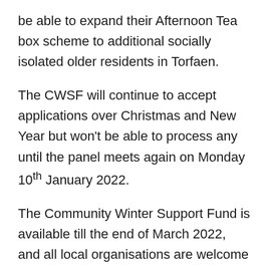be able to expand their Afternoon Tea box scheme to additional socially isolated older residents in Torfaen.
The CWSF will continue to accept applications over Christmas and New Year but won't be able to process any until the panel meets again on Monday 10th January 2022.
The Community Winter Support Fund is available till the end of March 2022, and all local organisations are welcome to submit applications for any projects that will support with winter pressures.
If you would like to chat with one of our team